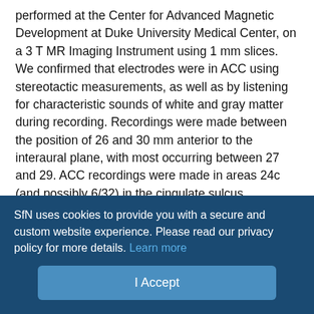performed at the Center for Advanced Magnetic Development at Duke University Medical Center, on a 3 T MR Imaging Instrument using 1 mm slices. We confirmed that electrodes were in ACC using stereotactic measurements, as well as by listening for characteristic sounds of white and gray matter during recording. Recordings were made between the position of 26 and 30 mm anterior to the interaural plane, with most occurring between 27 and 29. ACC recordings were made in areas 24c (and possibly 6/32) in the cingulate sulcus, corresponding closely to what is called dACC. These recordings are somewhat inferior to the location where neurons are found to exhibit reward monitoring signals [sometimes called supplementary motor area (Stuphorn et al., 2000)], superior to an area implicated in social behavior in a lesion study [perigenual,
SfN uses cookies to provide you with a secure and custom website experience. Please read our privacy policy for more details. Learn more